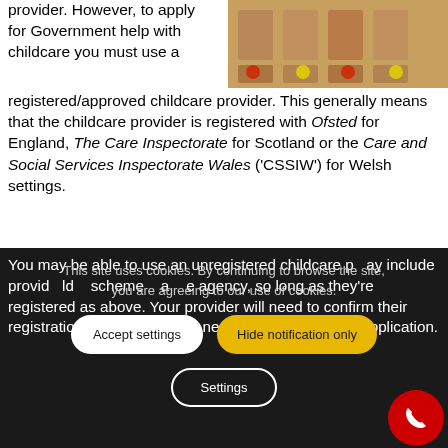provider. However, to apply for Government help with childcare you must use a registered/approved childcare provider. This generally means that the childcare provider is registered with Ofsted for England, The Care Inspectorate for Scotland or the Care and Social Services Inspectorate Wales ('CSSIW') for Welsh settings.
[Figure (photo): Classroom with tables and chairs, colorful plates on desks]
You may be able to use an unregistered childcare provider, but only if the scheme you are claiming. may include providers of childcare schemes, a childminder agency, so long as they're registered as above. Your provider will need to confirm their registration number which you'll need to provide in your application.
This site uses cookies. By continuing to browse the site, you are agreeing to our use of cookies.